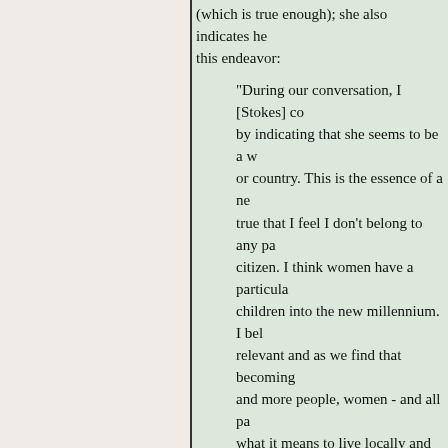(which is true enough); she also indicates her motivation for this endeavor:
"During our conversation, I [Stokes] co... by indicating that she seems to be a w... or country. This is the essence of a ne... true that I feel I don't belong to any pa... citizen. I think women have a particula... children into the new millennium. I bel... relevant and as we find that becoming... and more people, women - and all pa... what it means to live locally and act gl... beginning to understand what global c... fundamental to our ability... to achieve... individual and collective role in this hig..."
Maxwell's biggest platform for these views ca... Scientific and Cultural Organization. UNESCO... us from because it promotes anti-Americanis... object of my most intense ire, the Internation... UNESCO in 2003.[66]
Approaching a major collaborative presentat... Society, Maxwell exchanges email with Take...